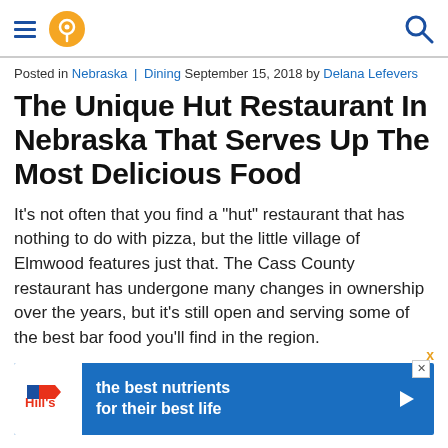[Navigation bar with hamburger menu, location pin icon, and search icon]
Posted in Nebraska | Dining September 15, 2018 by Delana Lefevers
The Unique Hut Restaurant In Nebraska That Serves Up The Most Delicious Food
It’s not often that you find a “hut” restaurant that has nothing to do with pizza, but the little village of Elmwood features just that. The Cass County restaurant has undergone many changes in ownership over the years, but it’s still open and serving some of the best bar food you’ll find in the region.
[Figure (other): Advertisement banner for Hill's pet nutrition: 'the best nutrients for their best life' with Hill's logo on blue background]